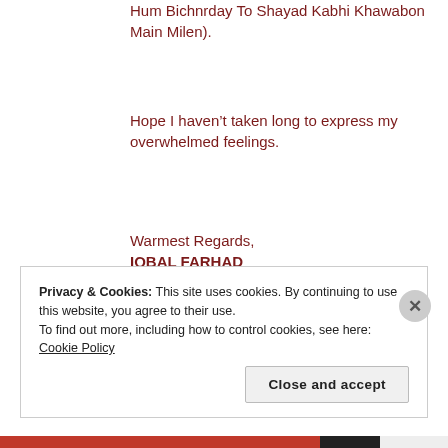Hum Bichnrday To Shayad Kabhi Khawabon Main Milen).
Hope I haven’t taken long to express my overwhelmed feelings.
Warmest Regards,
IQBAL FARHAD
Reply
Privacy & Cookies: This site uses cookies. By continuing to use this website, you agree to their use.
To find out more, including how to control cookies, see here: Cookie Policy